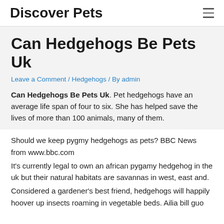Discover Pets
Can Hedgehogs Be Pets Uk
Leave a Comment / Hedgehogs / By admin
Can Hedgehogs Be Pets Uk. Pet hedgehogs have an average life span of four to six. She has helped save the lives of more than 100 animals, many of them.
Should we keep pygmy hedgehogs as pets? BBC News from www.bbc.com
It's currently legal to own an african pygamy hedgehog in the uk but their natural habitats are savannas in west, east and.
Considered a gardener's best friend, hedgehogs will happily hoover up insects roaming in vegetable beds. Ailia bill guo